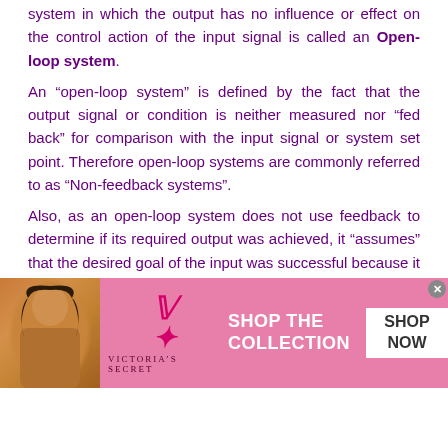system in which the output has no influence or effect on the control action of the input signal is called an Open-loop system.
An “open-loop system” is defined by the fact that the output signal or condition is neither measured nor “fed back” for comparison with the input signal or system set point. Therefore open-loop systems are commonly referred to as “Non-feedback systems”.
Also, as an open-loop system does not use feedback to determine if its required output was achieved, it “assumes” that the desired goal of the input was successful because it cannot correct any errors it could make, and so cannot compensate for any external disturbances to the system.
Open-loop Motor Control
So for example, assume the DC motor controller as shown. The
[Figure (photo): Advertising banner for Victoria’s Secret featuring a model on the left, Victoria’s Secret logo in center, and ‘SHOP THE COLLECTION’ text with a ‘SHOP NOW’ button on a pink background.]